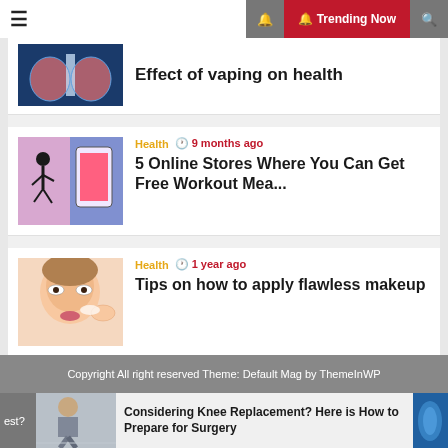≡  🔔 Trending Now 🔍
[Figure (photo): Partial article thumbnail showing lungs X-ray image in blue/red tones]
Effect of vaping on health
[Figure (photo): Fitness app and workout related thumbnail image]
Health  🕐 9 months ago
5 Online Stores Where You Can Get Free Workout Mea...
[Figure (photo): Woman applying skincare/makeup to face]
Health  🕐 1 year ago
Tips on how to apply flawless makeup
Copyright All right reserved Theme: Default Mag by ThemeInWP
est?
[Figure (photo): Person with knee injury/replacement preparation thumbnail]
Considering Knee Replacement? Here is How to Prepare for Surgery
[Figure (photo): Blue knee/medical image on right side]